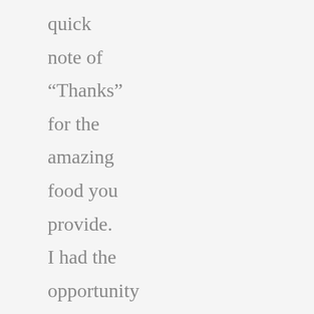quick note of “Thanks” for the amazing food you provide. I had the opportunity to taste the food and I really loved it. Ghazale provides excellent food and at a reasonable cost.. It’s Wi